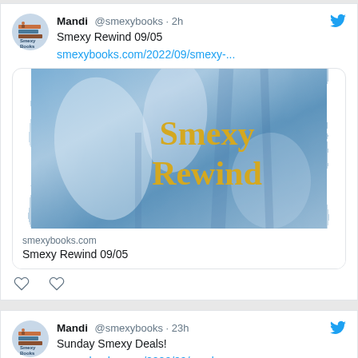[Figure (screenshot): Twitter/social media feed showing two tweets from Mandi @smexybooks. First tweet (2h ago): 'Smexy Rewind 09/05' with link smexybooks.com/2022/09/smexy-... and a link preview card showing a blue watercolor image with 'Smexy Rewind' in gold text, domain smexybooks.com, title 'Smexy Rewind 09/05'. Second tweet (23h ago): 'Sunday Smexy Deals!' with link smexybooks.com/2022/09/sunday...]